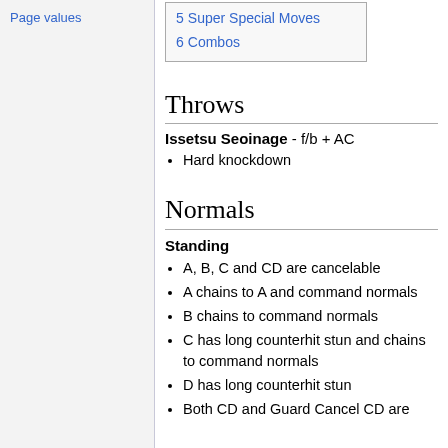Page values
5  Super Special Moves
6  Combos
Throws
Issetsu Seoinage - f/b + AC
Hard knockdown
Normals
Standing
A, B, C and CD are cancelable
A chains to A and command normals
B chains to command normals
C has long counterhit stun and chains to command normals
D has long counterhit stun
Both CD and Guard Cancel CD are